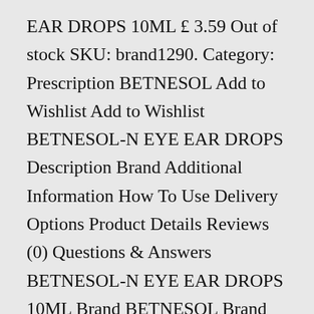EAR DROPS 10ML £ 3.59 Out of stock SKU: brand1290. Category: Prescription BETNESOL Add to Wishlist Add to Wishlist BETNESOL-N EYE EAR DROPS Description Brand Additional Information How To Use Delivery Options Product Details Reviews (0) Questions & Answers BETNESOL-N EYE EAR DROPS 10ML Brand BETNESOL Brand BETNESOL How To Use. Steps: In a large pot, melt